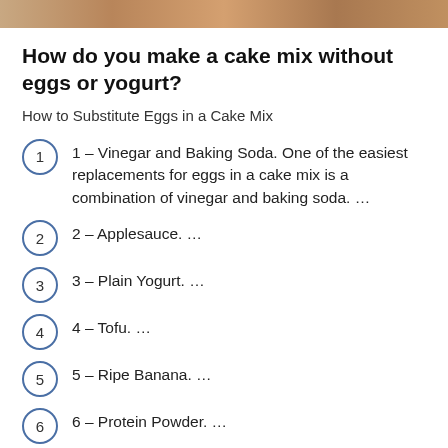[Figure (photo): Partial image of a cake or baked food item at the top of the page]
How do you make a cake mix without eggs or yogurt?
How to Substitute Eggs in a Cake Mix
1 – Vinegar and Baking Soda. One of the easiest replacements for eggs in a cake mix is a combination of vinegar and baking soda. …
2 – Applesauce. …
3 – Plain Yogurt. …
4 – Tofu. …
5 – Ripe Banana. …
6 – Protein Powder. …
7 – Flaxseeds.